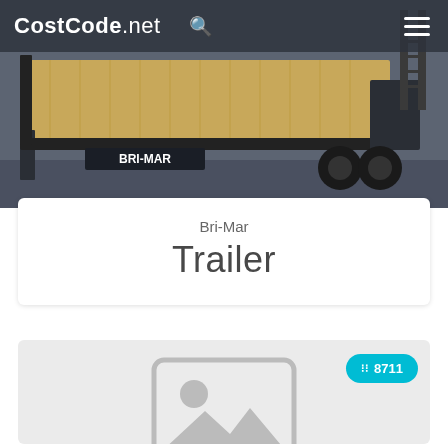CostCode.net
[Figure (photo): Bri-Mar flatbed/equipment trailer with wooden deck and black steel frame, photographed in a showroom or warehouse setting]
Bri-Mar Trailer
[Figure (other): Image placeholder (no image loaded) with cost code badge showing 8711]